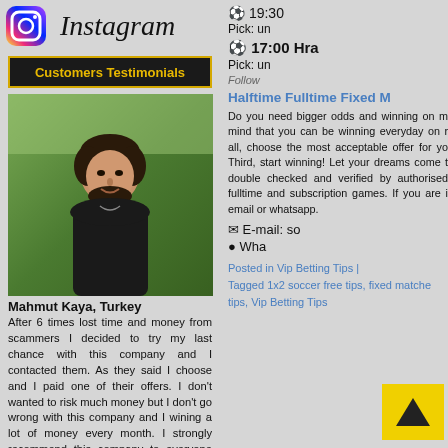[Figure (logo): Instagram logo icon with gradient colors]
Instagram
Customers Testimonials
[Figure (photo): Photo of Mahmut Kaya, a young man with beard in outdoor setting]
Mahmut Kaya, Turkey
After 6 times lost time and money from scammers I decided to try my last chance with this company and I contacted them. As they said I choose and I paid one of their offers. I don't wanted to risk much money but I don't go wrong with this company and I wining a lot of money every month. I strongly recommend this company to everyone who
⚽ 19:30
Pick: un
⚽ 17:00 Hra
Pick: un
Follow
Halftime Fulltime Fixed M
Do you need bigger odds and winning on m mind that you can be winning everyday on r all, choose the most acceptable offer for yo Third, start winning! Let your dreams come t double checked and verified by authorised fulltime and subscription games. If you are i email or whatsapp.
✉ E-mail: so
● Whats
Posted in Vip Betting Tips |
Tagged 1x2 soccer free tips, fixed matche tips, Vip Betting Tips